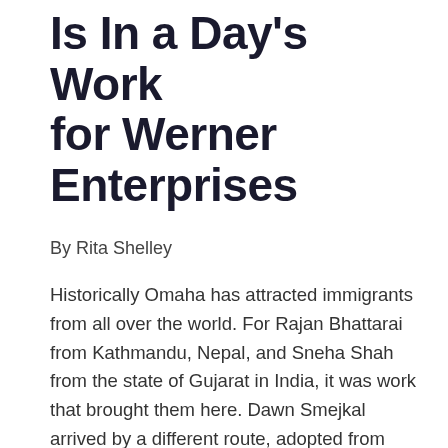Is In a Day's Work for Werner Enterprises
By Rita Shelley
Historically Omaha has attracted immigrants from all over the world. For Rajan Bhattarai from Kathmandu, Nepal, and Sneha Shah from the state of Gujarat in India, it was work that brought them here. Dawn Smejkal arrived by a different route, adopted from Korea by a Norfolk, Nebraska family when she was nine months old. The three work at Werner Enterprises where they have organized an Asian and Middle Eastern Associate Resource (AR) Group. As part